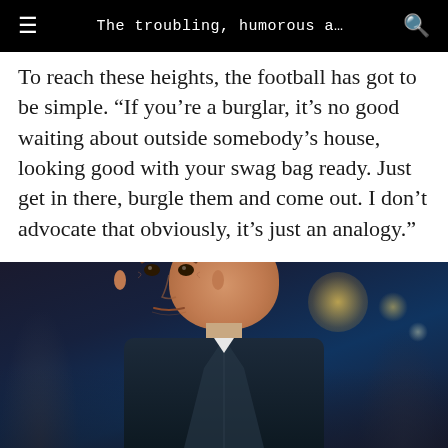The troubling, humorous a…
To reach these heights, the football has got to be simple. “If you’re a burglar, it’s no good waiting about outside somebody’s house, looking good with your swag bag ready. Just get in there, burgle them and come out. I don’t advocate that obviously, it’s just an analogy.”
[Figure (photo): Close-up photograph of an older man with reddish-brown hair, wearing a dark jacket, looking upward with a serious expression. Blurred crowd visible in the background with bokeh light effects.]